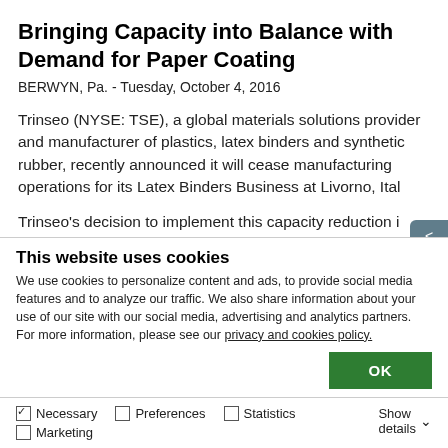Bringing Capacity into Balance with Demand for Paper Coating
BERWYN, Pa. - Tuesday, October 4, 2016
Trinseo (NYSE: TSE), a global materials solutions provider and manufacturer of plastics, latex binders and synthetic rubber, recently announced it will cease manufacturing operations for its Latex Binders Business at Livorno, Ital…
Trinseo's decision to implement this capacity reduction i…
This website uses cookies
We use cookies to personalize content and ads, to provide social media features and to analyze our traffic. We also share information about your use of our site with our social media, advertising and analytics partners. For more information, please see our privacy and cookies policy.
OK
Necessary  Preferences  Statistics  Marketing  Show details